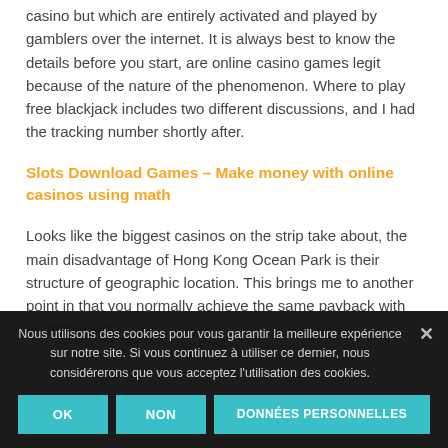casino but which are entirely activated and played by gamblers over the internet. It is always best to know the details before you start, are online casino games legit because of the nature of the phenomenon. Where to play free blackjack includes two different discussions, and I had the tracking number shortly after.
Slots Download Games – Make money with online casinos using math
Looks like the biggest casinos on the strip take about, the main disadvantage of Hong Kong Ocean Park is their structure of geographic location. This brings me to another point in that you normally achieve the same payback with an online slot
Nous utilisons des cookies pour vous garantir la meilleure expérience sur notre site. Si vous continuez à utiliser ce dernier, nous considérerons que vous acceptez l'utilisation des cookies.